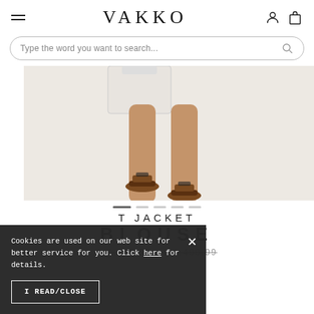VAKKO
Type the word you want to search...
[Figure (photo): Lower body of a model wearing brown leather slide sandals and holding a white bag, on a white background. Product photo for T JACKET BLOUSE.]
T JACKET
BLOUSE
₺ 1.222,50 ₺ 1.499,99
Cookies are used on our web site for better service for you. Click here for details.
I READ/CLOSE